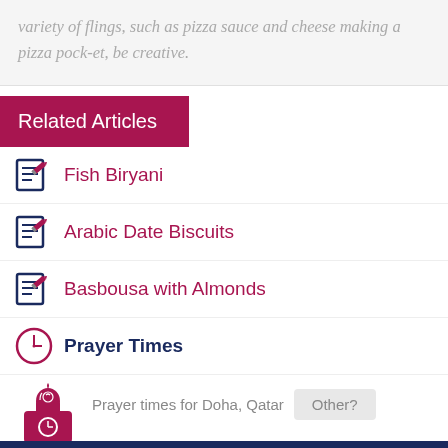variety of flings, such as pizza sauce and cheese making a pizza pock-et, be creative.
Related Articles
Fish Biryani
Arabic Date Biscuits
Basbousa with Almonds
Prayer Times
Prayer times for Doha, Qatar   Other?